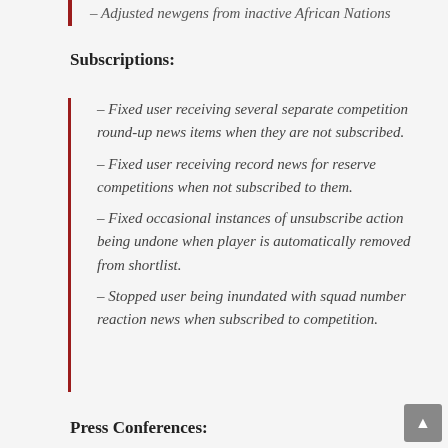– Adjusted newgens from inactive African Nations
Subscriptions:
– Fixed user receiving several separate competition round-up news items when they are not subscribed.
– Fixed user receiving record news for reserve competitions when not subscribed to them.
– Fixed occasional instances of unsubscribe action being undone when player is automatically removed from shortlist.
– Stopped user being inundated with squad number reaction news when subscribed to competition.
Press Conferences: